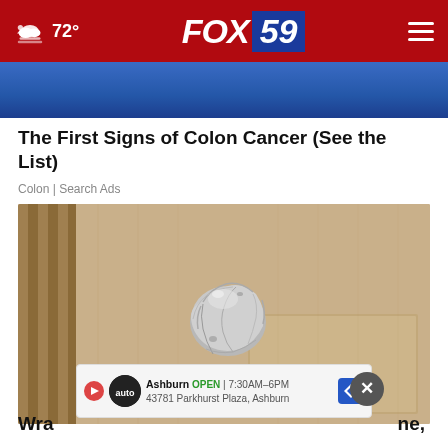72° FOX 59
[Figure (photo): Blue background partial image at top]
The First Signs of Colon Cancer (See the List)
Colon | Search Ads
[Figure (photo): A door knob wrapped in aluminum foil on a tan/beige door]
Wra... ne,
Ashburn  OPEN  7:30AM–6PM  43781 Parkhurst Plaza, Ashburn